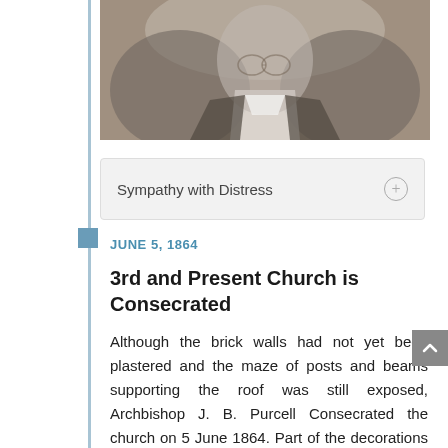[Figure (photo): Black and white portrait photograph of a person, partially visible, showing upper body with a jacket and white collar/tie. The image is cropped at the top of the page.]
Sympathy with Distress
JUNE 5, 1864
3rd and Present Church is Consecrated
Although the brick walls had not yet been plastered and the maze of posts and beams supporting the roof was still exposed, Archbishop J. B. Purcell Consecrated the church on 5 June 1864. Part of the decorations of the building included the